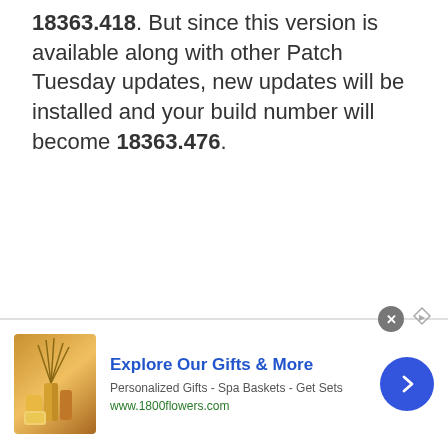18363.418. But since this version is available along with other Patch Tuesday updates, new updates will be installed and your build number will become 18363.476.
[Figure (infographic): Pure Earth charity advertisement banner with black left panel reading 'We believe the global pollution crisis can be solved.' with orange JOIN US button and Pure Earth diamond logo on right side]
[Figure (infographic): 1800flowers.com advertisement at bottom of page with gift basket product image, title 'Explore Our Gifts & More', subtitle 'Personalized Gifts - Spa Baskets - Get Sets', URL www.1800flowers.com, blue navigation arrow on right, close X button]